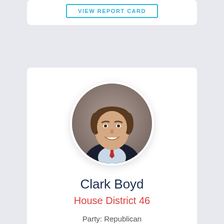[Figure (other): Button labeled VIEW REPORT CARD with cyan border]
[Figure (photo): Circular headshot photo of Clark Boyd, a young man in a dark suit and red tie, smiling, against a gray background]
Clark Boyd
House District 46
Party: Republican
Current Score: 69